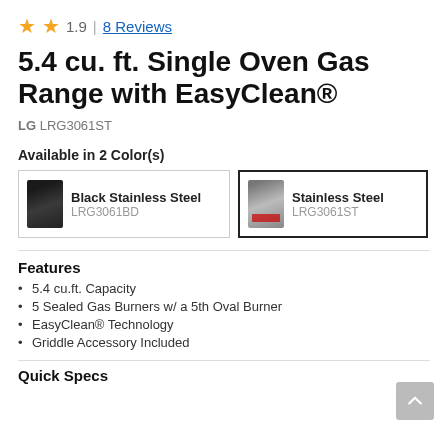★★ 1.9 | 8 Reviews
5.4 cu. ft. Single Oven Gas Range with EasyClean®
LG LRG3061ST
Available in 2 Color(s)
[Figure (other): Two color option boxes: 'Black Stainless Steel / LRG3061BD' (unselected) and 'Stainless Steel / LRG3061ST' (selected with bold border), each showing a small product thumbnail.]
Features
5.4 cu.ft. Capacity
5 Sealed Gas Burners w/ a 5th Oval Burner
EasyClean® Technology
Griddle Accessory Included
Quick Specs